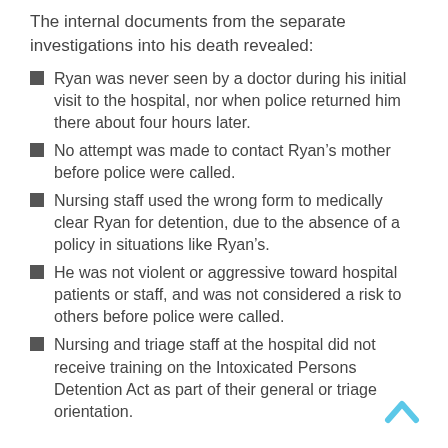The internal documents from the separate investigations into his death revealed:
Ryan was never seen by a doctor during his initial visit to the hospital, nor when police returned him there about four hours later.
No attempt was made to contact Ryan’s mother before police were called.
Nursing staff used the wrong form to medically clear Ryan for detention, due to the absence of a policy in situations like Ryan’s.
He was not violent or aggressive toward hospital patients or staff, and was not considered a risk to others before police were called.
Nursing and triage staff at the hospital did not receive training on the Intoxicated Persons Detention Act as part of their general or triage orientation.